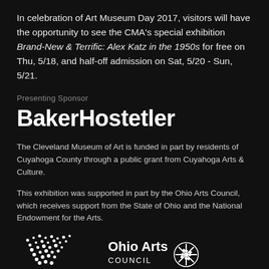In celebration of Art Museum Day 2017, visitors will have the opportunity to see the CMA's special exhibition Brand-New & Terrific: Alex Katz in the 1950s for free on Thu, 5/18, and half-off admission on Sat, 5/20 - Sun, 5/21.
Presenting Sponsor
BakerHostetler
The Cleveland Museum of Art is funded in part by residents of Cuyahoga County through a public grant from Cuyahoga Arts & Culture.
This exhibition was supported in part by the Ohio Arts Council, which receives support from the State of Ohio and the National Endowment for the Arts.
[Figure (logo): Cuyahoga Arts & Culture logo — white dots arranged in a triangular scatter pattern above the word 'cuyahoga']
[Figure (logo): Ohio Arts Council logo — text 'Ohio Arts COUNCIL' with a decorative snowflake/asterisk emblem to the right]